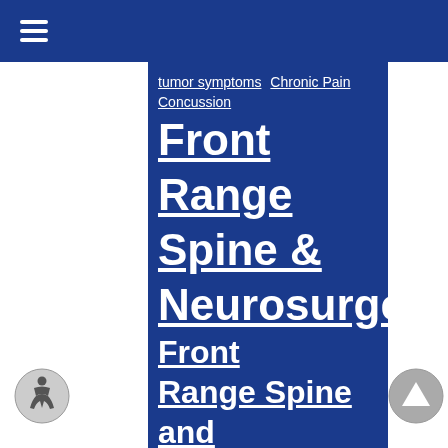Front Range Spine & Neurosurgery - navigation bar
tumor symptoms Chronic Pain Concussion Front Range Spine & Neurosurgery Front Range Spine and Neurosurgery head injury Lower Back Pain Migraine minimally invasive spinal surgery minimally invasive spinal surgery Colorado Springs CO minimally invasive spinal surgery near me Neurological Disorders neurologist neurosurgeon neurosurgeon colorado neurosurgeon Colorado Springs